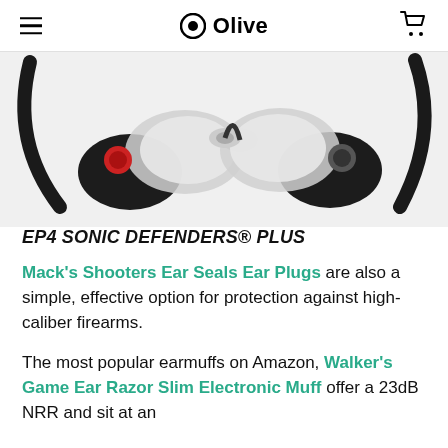Olive
[Figure (photo): Product photo showing EP4 Sonic Defenders Plus ear plugs — two sets of black and clear ear plugs with cable, one pair showing a red button, displayed on white background]
EP4 SONIC DEFENDERS® PLUS
Mack's Shooters Ear Seals Ear Plugs are also a simple, effective option for protection against high-caliber firearms.
The most popular earmuffs on Amazon, Walker's Game Ear Razor Slim Electronic Muff offer a 23dB NRR and sit at an